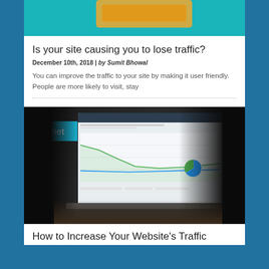[Figure (photo): Teal colored image cropped at top, partially visible]
Is your site causing you to lose traffic?
December 10th, 2018 | by Sumit Bhowal
You can improve the traffic to your site by making it user friendly. People are more likely to visit, stay
[Figure (photo): Photo of a person working on a laptop showing Google Analytics dashboard with line charts and pie chart. An 'Internet' category tag overlaid on top left.]
How to Increase Your Website's Traffic